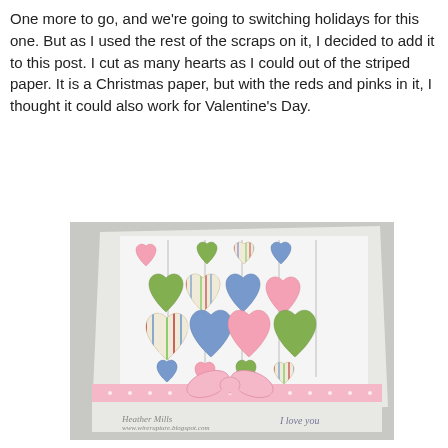One more to go, and we're going to switching holidays for this one.  But as I used the rest of the scraps on it, I decided to add it to this post.  I cut as many hearts as I could out of the striped paper.  It is a Christmas paper, but with the reds and pinks in it, I thought it could also work for Valentine's Day.
[Figure (photo): A handmade Valentine's Day card featuring multiple colorful hearts (pink, green, blue, and striped) hanging from strings, arranged in rows on a white card. A pink polka-dot ribbon and bow decorates the bottom. The card has handwritten text 'Heather Mills www.wirerupture.blogspot.com' and 'I love you'. The card is photographed at a slight angle on a gray background.]